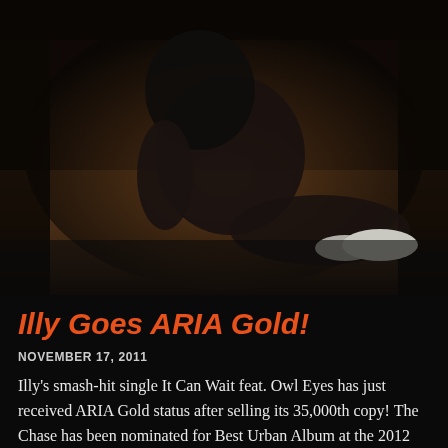[Figure (photo): Dark photo of a person sitting on the floor wearing dark clothing and white sneakers, against a wooden/dark background]
Illy Goes ARIA Gold!
NOVEMBER 17, 2011
Illy's smash-hit single It Can Wait feat. Owl Eyes has just received ARIA Gold status after selling its 35,000th copy! The Chase has been nominated for Best Urban Album at the 2012 ARIA Awards! To top that news, he is also back in the studio already after his huge tour with Spit Syndicate, M-Phazes and Sietta. “I have been in the studio with Phizzle pretty flat out working on shit for the next album (coming